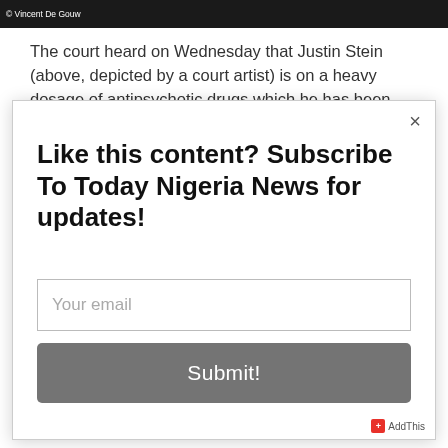[Figure (screenshot): Dark top bar with © Vincent De Gouw photo credit text in white]
The court heard on Wednesday that Justin Stein (above, depicted by a court artist) is on a heavy dosage of antipsychotic drugs which he has been taking for years to
[Figure (screenshot): Modal popup dialog with subscription form for Today Nigeria News. Contains close button (×), headline 'Like this content? Subscribe To Today Nigeria News for updates!', an email input field with placeholder 'Your email', and a gray Submit! button.]
AddThis